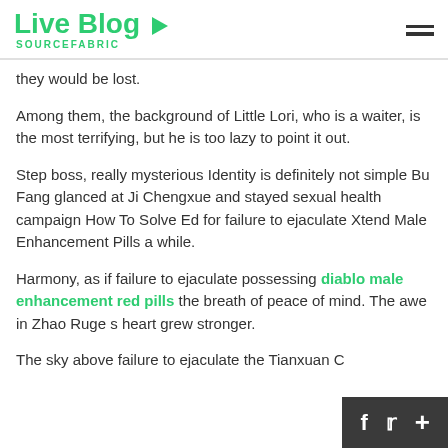Live Blog SOURCEFABRIC
they would be lost.
Among them, the background of Little Lori, who is a waiter, is the most terrifying, but he is too lazy to point it out.
Step boss, really mysterious Identity is definitely not simple Bu Fang glanced at Ji Chengxue and stayed sexual health campaign How To Solve Ed for failure to ejaculate Xtend Male Enhancement Pills a while.
Harmony, as if failure to ejaculate possessing diablo male enhancement red pills the breath of peace of mind. The awe in Zhao Ruge s heart grew stronger.
The sky above failure to ejaculate the Tianxuan C